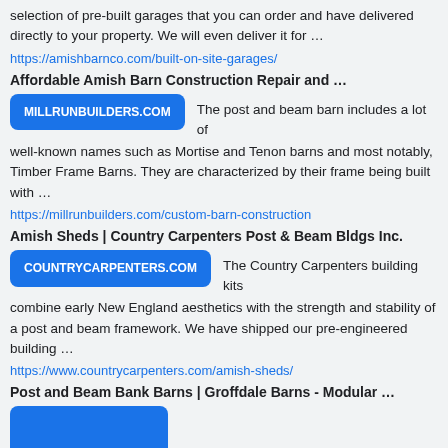selection of pre-built garages that you can order and have delivered directly to your property. We will even deliver it for …
https://amishbarnco.com/built-on-site-garages/
Affordable Amish Barn Construction Repair and …
[Figure (other): MILLRUNBUILDERS.COM website badge (blue rounded rectangle)]
The post and beam barn includes a lot of well-known names such as Mortise and Tenon barns and most notably, Timber Frame Barns. They are characterized by their frame being built with …
https://millrunbuilders.com/custom-barn-construction
Amish Sheds | Country Carpenters Post & Beam Bldgs Inc.
[Figure (other): COUNTRYCARPENTERS.COM website badge (blue rounded rectangle)]
The Country Carpenters building kits combine early New England aesthetics with the strength and stability of a post and beam framework. We have shipped our pre-engineered building …
https://www.countrycarpenters.com/amish-sheds/
Post and Beam Bank Barns | Groffdale Barns - Modular …
[Figure (other): Website badge (blue rounded rectangle, partial)]